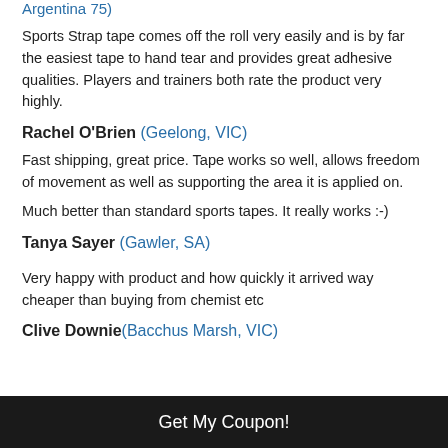Argentina 75)
Sports Strap tape comes off the roll very easily and is by far the easiest tape to hand tear and provides great adhesive qualities. Players and trainers both rate the product very highly.
Rachel O'Brien (Geelong, VIC)
Fast shipping, great price. Tape works so well, allows freedom of movement as well as supporting the area it is applied on.
Much better than standard sports tapes. It really works :-)
Tanya Sayer (Gawler, SA)
Very happy with product and how quickly it arrived way cheaper than buying from chemist etc
Clive Downie(Bacchus Marsh, VIC)
Get My Coupon!